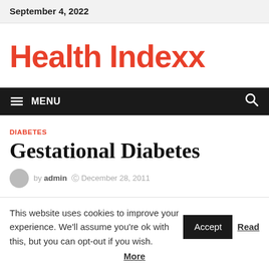September 4, 2022
Health Indexx
≡  MENU
DIABETES
Gestational Diabetes
by admin  © December 28, 2011
This website uses cookies to improve your experience. We'll assume you're ok with this, but you can opt-out if you wish.  Accept  Read More